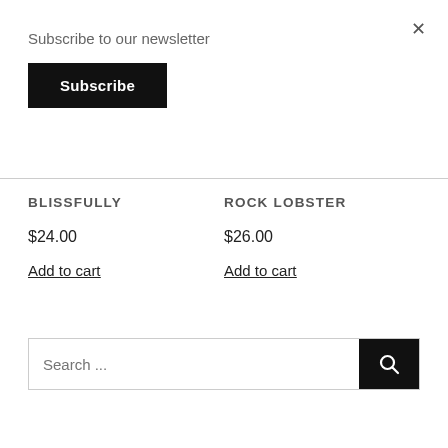×
Subscribe to our newsletter
Subscribe
BLISSFULLY
$24.00
Add to cart
ROCK LOBSTER
$26.00
Add to cart
Search ...